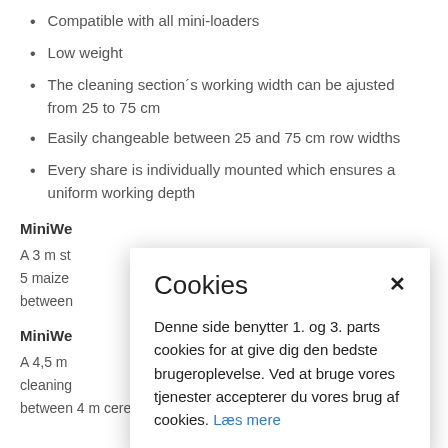Compatible with all mini-loaders
Low weight
The cleaning section´s working width can be ajusted from 25 to 75 cm
Easily changeable between 25 and 75 cm row widths
Every share is individually mounted which ensures a uniform working depth
MiniWe
A 3 m st
5 maize
between
MiniWe
A 4,5 m
cleaning
between 4 m cereals with a 25 cm row width
Cookies dialog — Denne side benytter 1. og 3. parts cookies for at give dig den bedste brugeroplevelse. Ved at bruge vores tjenester accepterer du vores brug af cookies. Læs mere